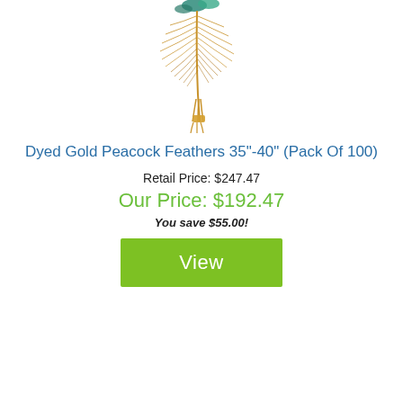[Figure (photo): Dyed gold peacock feathers bunch, shown from above with golden/teal feather tips visible at top and stems tied together at bottom]
Dyed Gold Peacock Feathers 35"-40" (Pack Of 100)
Retail Price: $247.47
Our Price: $192.47
You save $55.00!
View